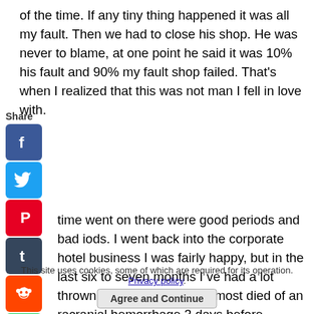of the time. If any tiny thing happened it was all my fault. Then we had to close his shop. He was never to blame, at one point he said it was 10% his fault and 90% my fault shop failed. That's when I realized that this was not man I fell in love with.
time went on there were good periods and bad iods. I went back into the corporate hotel business I was fairly happy, but in the last six to seven months I ve had a lot thrown at me. My mother almost died of an racranial hemorrhage 3 days before Christmas, my ndfather passed away the day before my birthday, I t a job that I absolutely loved, and my mother had to
This site uses cookies, some of which are required for its operation. Privacy policy. Agree and Continue